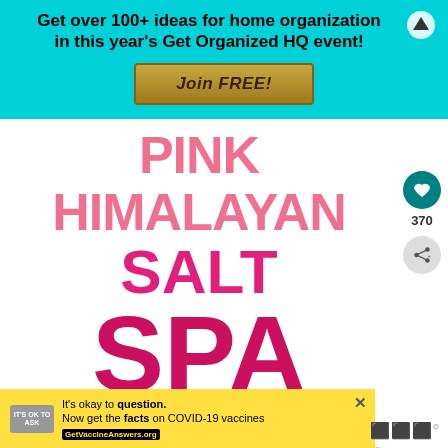Get over 100+ ideas for home organization in this year’s Get Organized HQ event!
Join FREE!
PINK HIMALAYAN SALT SPA
with bath salts, foot scrub,
body spray and aromatherapy candle
370
WHAT’S NEXT → Personalized Pot Holder...
It’s okay to question. Now get the facts on COVID-19 vaccines GetVaccineAnswers.org